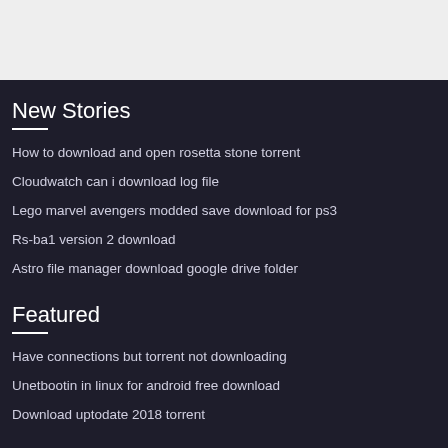New Stories
How to download and open rosetta stone torrent
Cloudwatch can i download log file
Lego marvel avengers modded save download for ps3
Rs-ba1 version 2 download
Astro file manager download google drive folder
Featured
Have connections but torrent not downloading
Unetbootin in linux for android free download
Download uptodate 2018 torrent